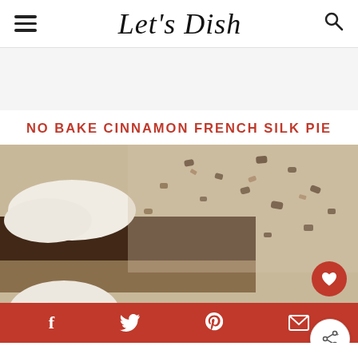Let's Dish
NO BAKE CINNAMON FRENCH SILK PIE
[Figure (photo): Close-up photo of a slice of No Bake Cinnamon French Silk Pie showing layers of chocolate and cream with whipped cream topping and chocolate chip garnish, with a heart/save button showing 1.1K saves and a share button.]
Facebook, Twitter, Pinterest, Email, Share social bar